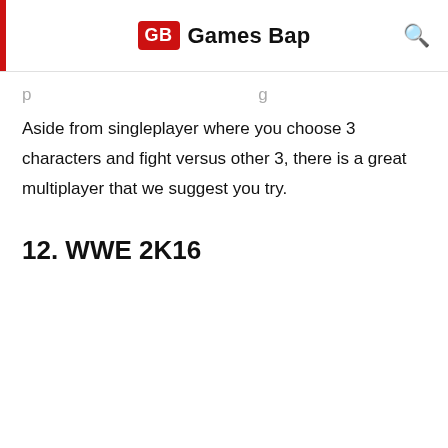GB Games Bap
Aside from singleplayer where you choose 3 characters and fight versus other 3, there is a great multiplayer that we suggest you try.
12. WWE 2K16